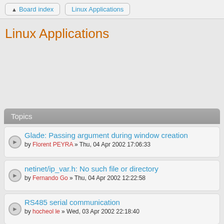Board index | Linux Applications
Linux Applications
Topics
Glade: Passing argument during window creation
by Florent PEYRA » Thu, 04 Apr 2002 17:06:33
netinet/ip_var.h: No such file or directory
by Fernando Go » Thu, 04 Apr 2002 12:22:58
RS485 serial communication
by hocheol le » Wed, 03 Apr 2002 22:18:40
throw problem in shared lib
by Nicola » Wed, 03 Apr 2002 15:40:17
If any one knows the wright parameters for gcc/g++ please help